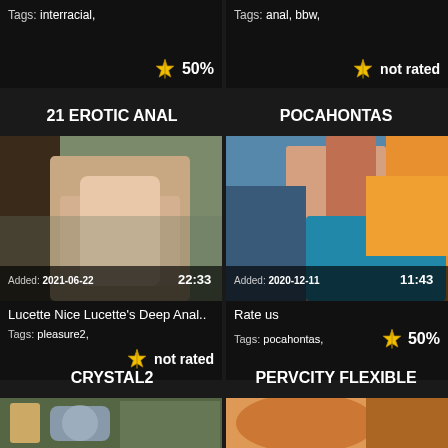Tags: interracial,   50%
Tags: anal, bbw,   not rated
21 EROTIC ANAL
POCAHONTAS
[Figure (photo): Video thumbnail showing adult content. Added: 2021-06-22, duration 22:33]
Lucette Nice Lucette's Deep Anal..
Tags: pleasure2,   not rated
[Figure (photo): Video thumbnail showing adult content. Added: 2020-12-11, duration 11:43]
Rate us
Tags: pocahontas,   50%
CRYSTAL2
PERVCITY FLEXIBLE
[Figure (photo): Partial video thumbnail at bottom left]
[Figure (photo): Partial video thumbnail at bottom right]